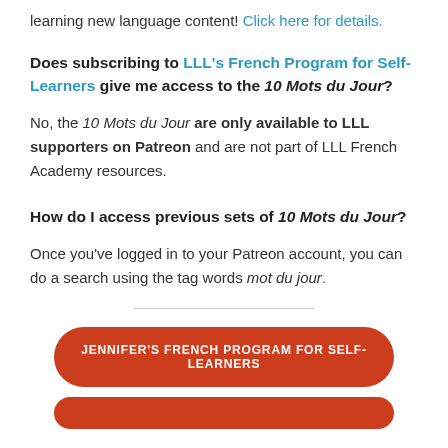learning new language content! Click here for details.
Does subscribing to LLL's French Program for Self-Learners give me access to the 10 Mots du Jour?
No, the 10 Mots du Jour are only available to LLL supporters on Patreon and are not part of LLL French Academy resources.
How do I access previous sets of 10 Mots du Jour?
Once you've logged in to your Patreon account, you can do a search using the tag words mot du jour.
[Figure (other): Horizontal divider line]
JENNIFER'S FRENCH PROGRAM FOR SELF-LEARNERS
(partially visible button at bottom)